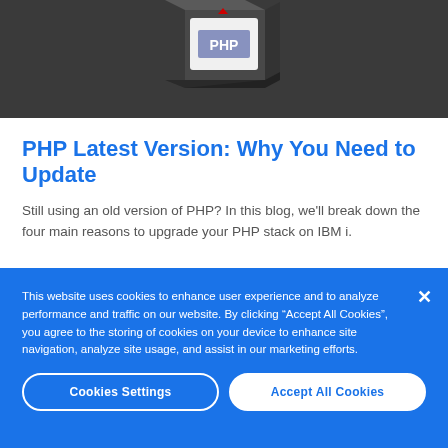[Figure (illustration): PHP logo/icon on a dark gray background, isometric style showing a 3D box with PHP branding]
PHP Latest Version: Why You Need to Update
Still using an old version of PHP? In this blog, we’ll break down the four main reasons to upgrade your PHP stack on IBM i.
This website uses cookies to enhance user experience and to analyze performance and traffic on our website. By clicking “Accept All Cookies”, you agree to the storing of cookies on your device to enhance site navigation, analyze site usage, and assist in our marketing efforts.